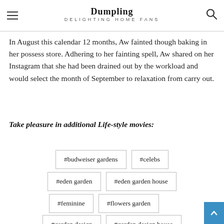Dumpling DELIGHTING HOME FANS
In August this calendar 12 months, Aw fainted though baking in her possess store. Adhering to her fainting spell, Aw shared on her Instagram that she had been drained out by the workload and would select the month of September to relaxation from carry out.
Take pleasure in additional Life-style movies:
#budweiser gardens
#celebs
#eden garden
#eden garden house
#feminine
#flowers garden
#garden design
#garden design house